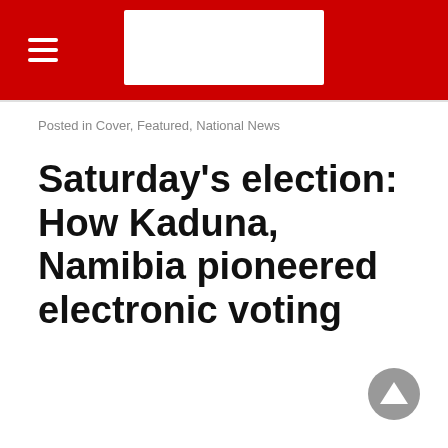[Navigation bar with hamburger menu and logo]
Posted in Cover, Featured, National News
Saturday's election: How Kaduna, Namibia pioneered electronic voting